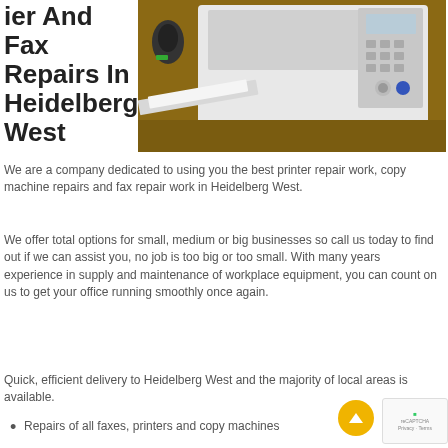ier And Fax Repairs In Heidelberg West
[Figure (photo): Close-up photo of a white multifunction printer/fax machine with control panel, paper tray open, on a desk with a computer mouse visible in the background.]
We are a company dedicated to using you the best printer repair work, copy machine repairs and fax repair work in Heidelberg West.
We offer total options for small, medium or big businesses so call us today to find out if we can assist you, no job is too big or too small. With many years experience in supply and maintenance of workplace equipment, you can count on us to get your office running smoothly once again.
Quick, efficient delivery to Heidelberg West and the majority of local areas is available.
Repairs of all faxes, printers and copy machines